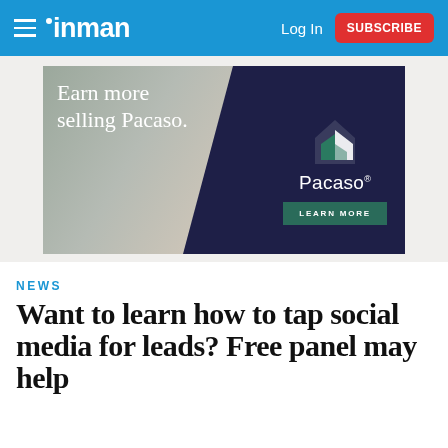inman | Log In | SUBSCRIBE
[Figure (photo): Pacaso advertisement banner showing a woman in a white blouse with text 'Earn more selling Pacaso.' and the Pacaso logo with a 'LEARN MORE' button on a dark navy background.]
NEWS
Want to learn how to tap social media for leads? Free panel may help